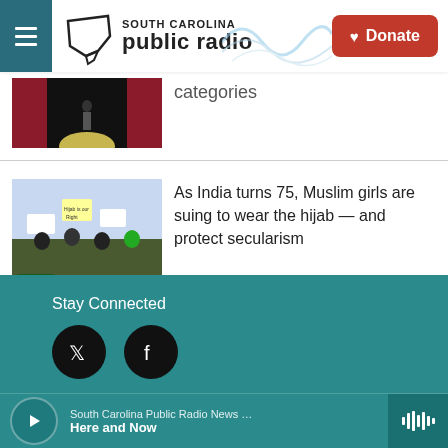South Carolina Public Radio | Donate
categories
As India turns 75, Muslim girls are suing to wear the hijab — and protect secularism
Stay Connected
South Carolina Public Radio News …
Here and Now